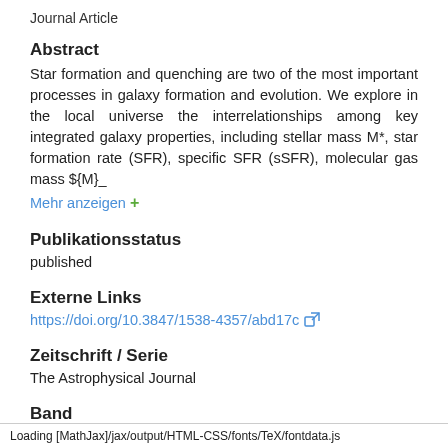Journal Article
Abstract
Star formation and quenching are two of the most important processes in galaxy formation and evolution. We explore in the local universe the interrelationships among key integrated galaxy properties, including stellar mass M*, star formation rate (SFR), specific SFR (sSFR), molecular gas mass ${M}_
Mehr anzeigen +
Publikationsstatus
published
Externe Links
https://doi.org/10.3847/1538-4357/abd17c
Zeitschrift / Serie
The Astrophysical Journal
Band
Loading [MathJax]/jax/output/HTML-CSS/fonts/TeX/fontdata.js